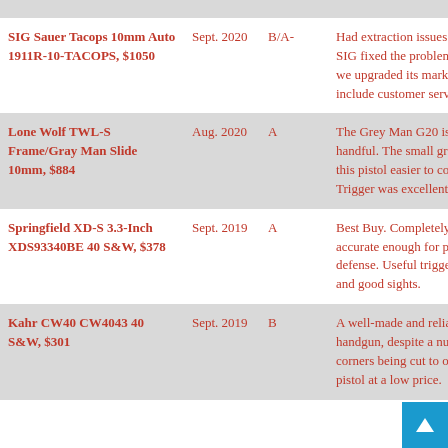| Product | Date | Grade | Notes |
| --- | --- | --- | --- |
| SIG Sauer Tacops 10mm Auto 1911R-10-TACOPS, $1050 | Sept. 2020 | B/A- | Had extraction issues initially. SIG fixed the problem fast, so we upgraded its marks to include customer service. |
| Lone Wolf TWL-S Frame/Gray Man Slide 10mm, $884 | Aug. 2020 | A | The Grey Man G20 is a handful. The small grip made this pistol easier to conceal. Trigger was excellent. |
| Springfield XD-S 3.3-Inch XDS93340BE 40 S&W, $378 | Sept. 2019 | A | Best Buy. Completely reliable, accurate enough for personal defense. Useful trigger action and good sights. |
| Kahr CW40 CW4043 40 S&W, $301 | Sept. 2019 | B | A well-made and reliable handgun, despite a number of corners being cut to offer the pistol at a low price. |